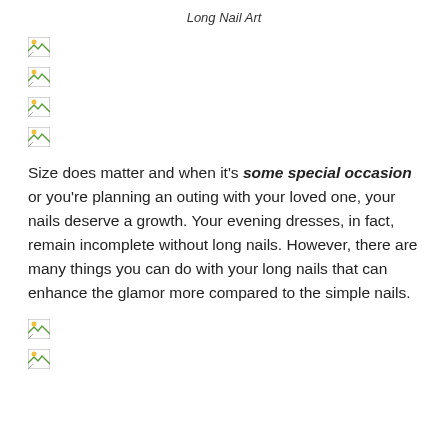Long Nail Art
[Figure (photo): Broken/missing image placeholder 1]
[Figure (photo): Broken/missing image placeholder 2]
[Figure (photo): Broken/missing image placeholder 3]
[Figure (photo): Broken/missing image placeholder 4]
Size does matter and when it’s some special occasion or you’re planning an outing with your loved one, your nails deserve a growth. Your evening dresses, in fact, remain incomplete without long nails. However, there are many things you can do with your long nails that can enhance the glamor more compared to the simple nails.
[Figure (photo): Broken/missing image placeholder 5]
[Figure (photo): Broken/missing image placeholder 6]